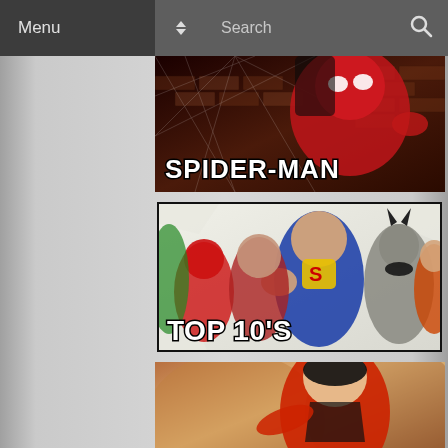Menu | Search
[Figure (screenshot): Spider-Man comic art banner with text SPIDER-MAN]
[Figure (screenshot): DC superheroes group banner with text TOP 10'S]
[Figure (screenshot): Superboy/superhero banner with text ORIGINS/BIO]
[Figure (screenshot): Partially visible comic hero banner at bottom]